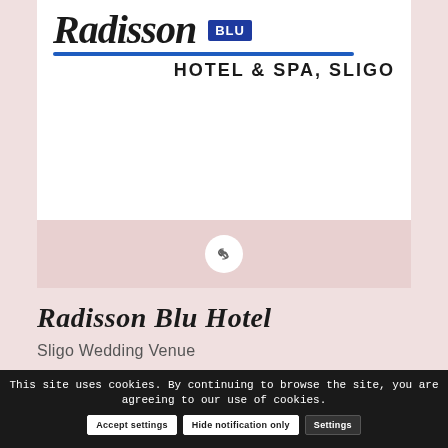[Figure (logo): Radisson Blu Hotel & Spa, Sligo logo — cursive 'Radisson' text with blue underline, blue BLU box, and HOTEL & SPA, SLIGO text]
[Figure (other): Link/chain icon button in a white circle on a pink/mauve background]
Radisson Blu Hotel
Sligo Wedding Venue
This site uses cookies. By continuing to browse the site, you are agreeing to our use of cookies.
Accept settings
Hide notification only
Settings